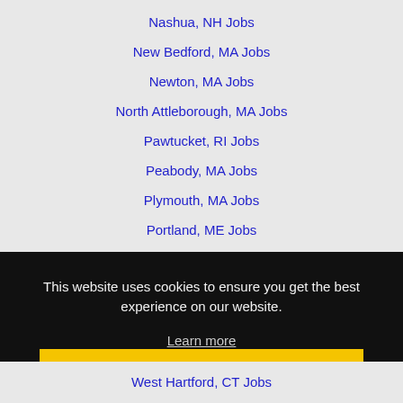Nashua, NH Jobs
New Bedford, MA Jobs
Newton, MA Jobs
North Attleborough, MA Jobs
Pawtucket, RI Jobs
Peabody, MA Jobs
Plymouth, MA Jobs
Portland, ME Jobs
Providence, RI Jobs
This website uses cookies to ensure you get the best experience on our website.
Learn more
Got it!
West Hartford, CT Jobs